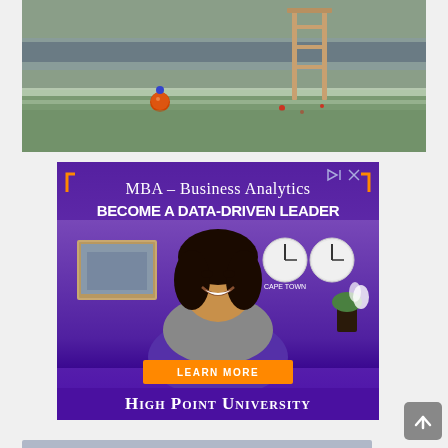[Figure (photo): Outdoor scene with frosted grass, a wooden ladder or chair structure, and a ball/buoy on the ground near water]
[Figure (illustration): Advertisement for High Point University MBA Business Analytics program. Purple background with text 'MBA – Business Analytics', 'BECOME A DATA-DRIVEN LEADER', photo of smiling woman, 'LEARN MORE' orange button, and 'HIGH POINT UNIVERSITY' at bottom. Orange corner bracket decorations.]